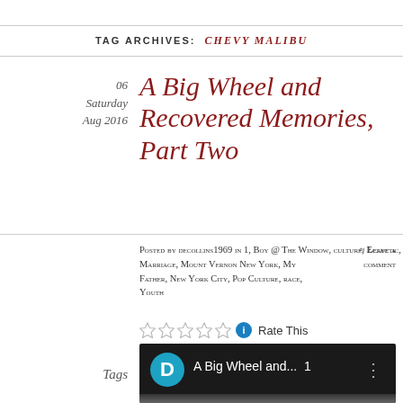TAG ARCHIVES: CHEVY MALIBU
06
Saturday
Aug 2016
A Big Wheel and Recovered Memories, Part Two
Posted by decollins1969 in 1, Boy @ The Window, culture, Eclectic, Jimme, Marriage, Mount Vernon New York, My Father, New York City, Pop Culture, race, Youth
≈ Leave a comment
Rate This
[Figure (screenshot): Video thumbnail showing letter D avatar and title 'A Big Wheel and... 1' on dark background]
Tags